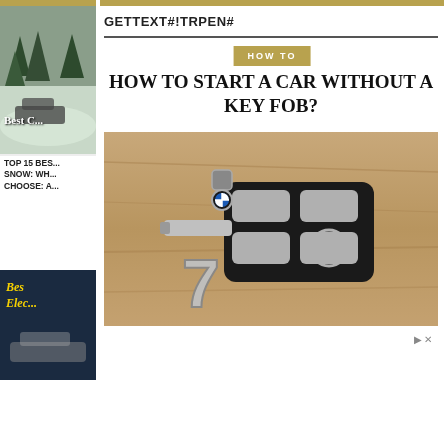GETTEXT#!TRPEN#
HOW TO
HOW TO START A CAR WITHOUT A KEY FOB?
[Figure (photo): BMW key fob with a chrome number 7 keychain lying on a wooden surface]
[Figure (photo): Sidebar: snowy forest scene with car, labeled Best C...]
TOP 15 BES... SNOW: WH... CHOOSE: A...
[Figure (photo): Sidebar: Best Electric cars article thumbnail with yellow italic text]